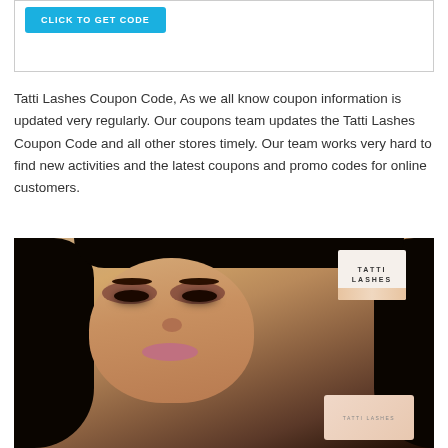[Figure (other): Button with cyan background labeled CLICK TO GET CODE inside a bordered box]
Tatti Lashes Coupon Code, As we all know coupon information is updated very regularly. Our coupons team updates the Tatti Lashes Coupon Code and all other stores timely. Our team works very hard to find new activities and the latest coupons and promo codes for online customers.
[Figure (photo): Photo of a woman with dramatic eye makeup and false lashes, with Tatti Lashes branding logo in top right and a Tatti Lashes product box in bottom right corner]